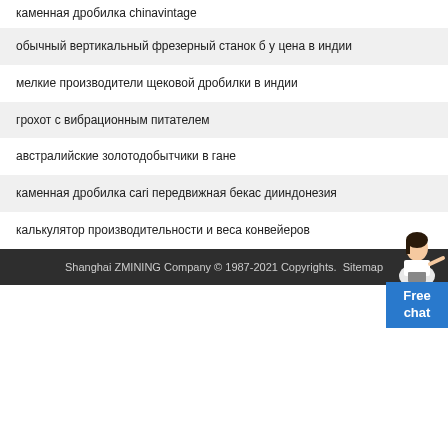каменная дробилка chinavintage
обычный вертикальный фрезерный станок б у цена в индии
мелкие производители щековой дробилки в индии
грохот с вибрационным питателем
австралийские золотодобытчики в гане
каменная дробилка cari передвижная бекас дииндонезия
калькулятор производительности и веса конвейеров
Shanghai ZMINING Company © 1987-2021 Copyrights. Sitemap